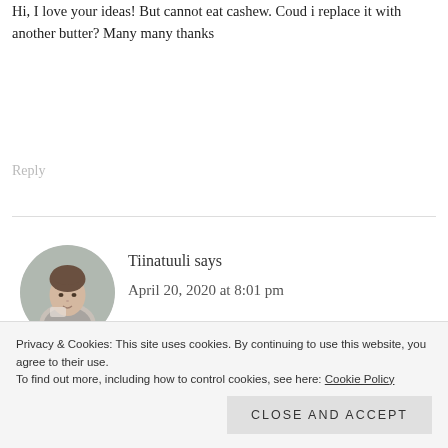Hi, I love your ideas! But cannot eat cashew. Coud i replace it with another butter? Many many thanks
Reply
[Figure (photo): Circular avatar photo of a woman holding a cup]
Tiinatuuli says
April 20, 2020 at 8:01 pm
Hi Daniela, Thanks so much for the question. If you can handle other nut
Privacy & Cookies: This site uses cookies. By continuing to use this website, you agree to their use. To find out more, including how to control cookies, see here: Cookie Policy
Close and accept